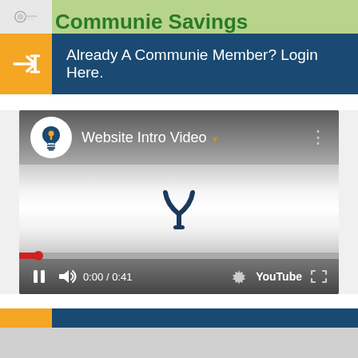Communie Savings
Already A Communie Member? Login Here.
[Figure (screenshot): YouTube embedded video player showing 'Website Intro Video' with a lightbulb/location icon logo, paused at 0:00 / 0:41, with YouTube branding and standard video controls including pause, volume, settings, and fullscreen buttons.]
Join Now